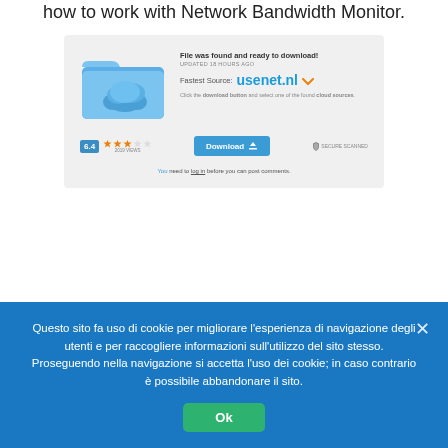how to work with Network Bandwidth Monitor.
[Figure (screenshot): Screenshot of a file download page showing a cloud folder icon, 'File was found and ready to download!' text, UPDATED 18 HOURS AGO, Fastest Source: usenet.nl, a Download button, rating of 6.4 with stars, 2019 VIEWS, SECURE SCANNED badge, and a comment note 'You need to log in before you can post comments.']
Questo sito fa uso di cookie per migliorare l’esperienza di navigazione degli utenti e per raccogliere informazioni sull’utilizzo del sito stesso. Proseguendo nella navigazione si accetta l’uso dei cookie; in caso contrario è possibile abbandonare il sito.
Ok